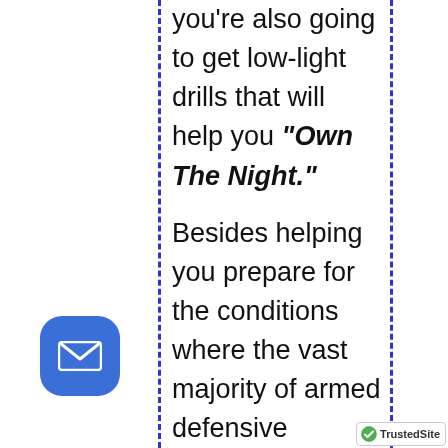you're also going to get low-light drills that will help you "Own The Night."
Besides helping you prepare for the conditions where the vast majority of armed defensive encounters occur, operating successfully in low light conditions makes you
[Figure (other): Blue rounded square email button with white envelope icon]
[Figure (logo): TrustedSite badge with green checkmark]